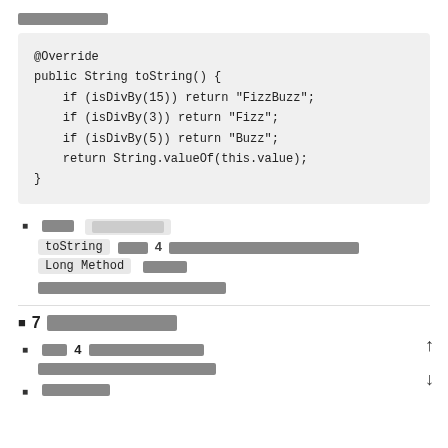[redacted text block - top]
@Override
public String toString() {
    if (isDivBy(15)) return "FizzBuzz";
    if (isDivBy(3)) return "Fizz";
    if (isDivBy(5)) return "Buzz";
    return String.valueOf(this.value);
}
[redacted] [redacted tag]
toString [redacted] 4 [redacted long text]
Long Method [redacted]
[redacted paragraph text]
■ 7 [redacted heading]
[redacted] 4 [redacted subtext]
[redacted paragraph]
[redacted]